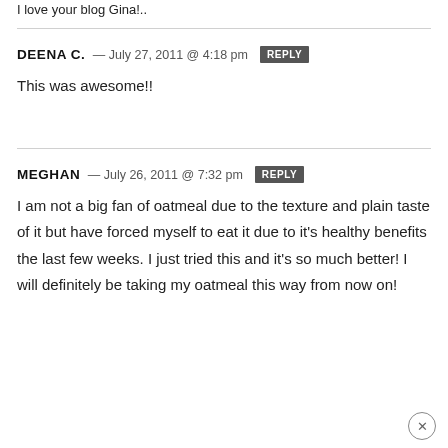I love your blog Gina!..
DEENA C. — July 27, 2011 @ 4:18 pm [REPLY]
This was awesome!!
MEGHAN — July 26, 2011 @ 7:32 pm [REPLY]
I am not a big fan of oatmeal due to the texture and plain taste of it but have forced myself to eat it due to it's healthy benefits the last few weeks. I just tried this and it's so much better! I will definitely be taking my oatmeal this way from now on!